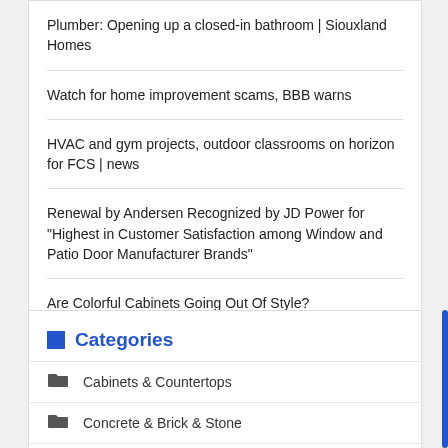Plumber: Opening up a closed-in bathroom | Siouxland Homes
Watch for home improvement scams, BBB warns
HVAC and gym projects, outdoor classrooms on horizon for FCS | news
Renewal by Andersen Recognized by JD Power for “Highest in Customer Satisfaction among Window and Patio Door Manufacturer Brands”
Are Colorful Cabinets Going Out Of Style?
Categories
Cabinets & Countertops
Concrete & Brick & Stone